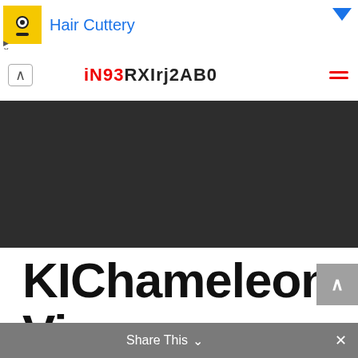[Figure (screenshot): Advertisement banner for Hair Cuttery with yellow icon, blue text, and blue dropdown arrow]
iN93RXIrj2AB0
[Figure (photo): Dark gray/charcoal hero image area]
KIChameleon View
Share This ∨  ✕